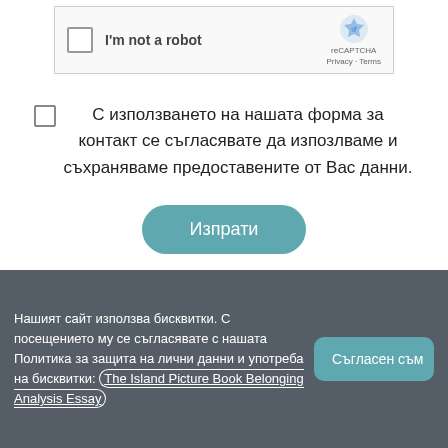[Figure (screenshot): reCAPTCHA widget with checkbox labeled I'm not a robot and reCAPTCHA Privacy Terms logo]
С използването на нашата форма за контакт се съгласявате да изпозлваме и съхраняваме предоставените от Вас данни.
Изпрати
Нашият сайт използва бисквитки. С посещението му се съгласявате с нашата Политика за защита на лични данни и употреба на бисквитки: The Island Picture Book Belonging Analysis Essay
Съгласен съм